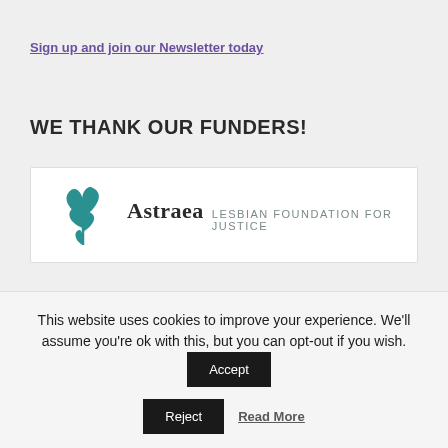Sign up and join our Newsletter today
WE THANK OUR FUNDERS!
[Figure (logo): Astraea Lesbian Foundation for Justice logo with teal floral graphic, name 'Astraea' in bold serif font and 'LESBIAN FOUNDATION FOR JUSTICE' in gray uppercase sans-serif text]
This website uses cookies to improve your experience. We'll assume you're ok with this, but you can opt-out if you wish.
Accept
Reject
Read More